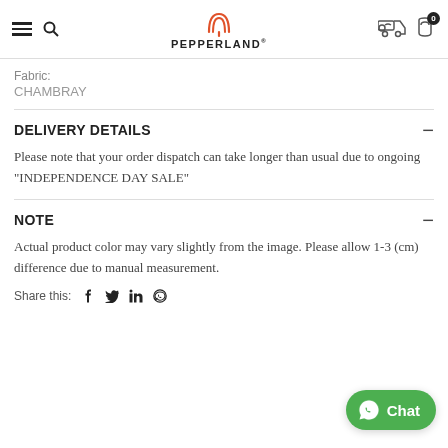PEPPERLAND
Fabric:
CHAMBRAY
DELIVERY DETAILS
Please note that your order dispatch can take longer than usual due to ongoing "INDEPENDENCE DAY SALE"
NOTE
Actual product color may vary slightly from the image. Please allow 1-3 (cm) difference due to manual measurement.
Share this: